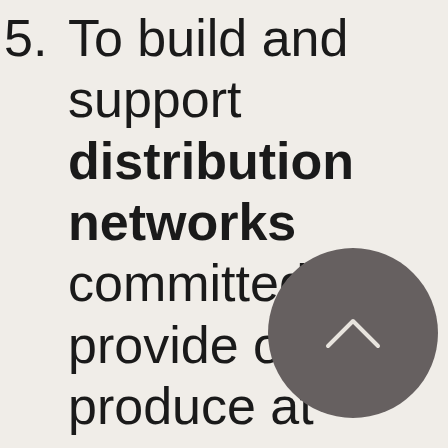5. To build and support distribution networks committed to provide organic produce at reasonable rates through organic shops, festivals, stores, hotels, and